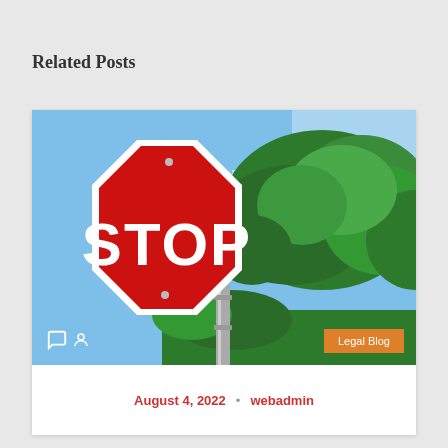Related Posts
[Figure (photo): A red octagonal STOP sign photographed against a blue sky with green trees in the background. A 'Legal Blog' orange badge appears in the bottom-right corner of the image. Two comment/user icons are visible in the bottom-left corner.]
August 4, 2022 • webadmin